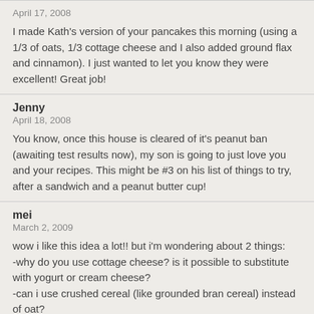April 17, 2008
I made Kath's version of your pancakes this morning (using a 1/3 of oats, 1/3 cottage cheese and I also added ground flax and cinnamon). I just wanted to let you know they were excellent! Great job!
Jenny
April 18, 2008
You know, once this house is cleared of it's peanut ban (awaiting test results now), my son is going to just love you and your recipes. This might be #3 on his list of things to try, after a sandwich and a peanut butter cup!
mei
March 2, 2009
wow i like this idea a lot!! but i'm wondering about 2 things:
-why do you use cottage cheese? is it possible to substitute with yogurt or cream cheese?
-can i use crushed cereal (like grounded bran cereal) instead of oat?

Thanks!!